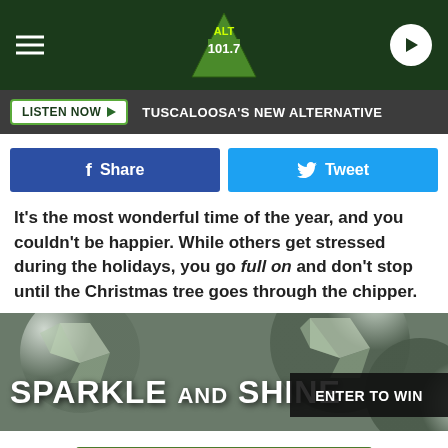ALT 101.7 — TUSCALOOSA'S NEW ALTERNATIVE
LISTEN NOW ▶  TUSCALOOSA'S NEW ALTERNATIVE
[Figure (screenshot): Facebook Share button (blue) and Twitter Tweet button (light blue)]
It's the most wonderful time of the year, and you couldn't be happier. While others get stressed during the holidays, you go full on and don't stop until the Christmas tree goes through the chipper.
[Figure (infographic): Sparkle and Shine banner ad with diamonds background. Text: SPARKLE AND SHINE | ENTER TO WIN]
$500 KAY JEWELERS GIFT CARD